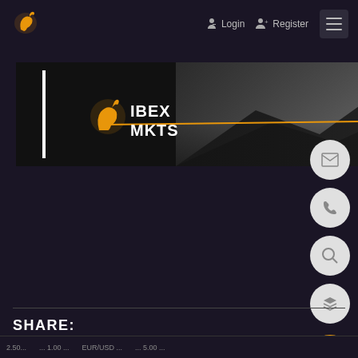Login   Register
[Figure (logo): IBEX MKTS logo banner with mountain background, orange ibex icon and white IBEX MKTS text]
[Figure (infographic): Floating action buttons on right side: email, phone, search, layers/stacked, and orange chat bubble]
SHARE: